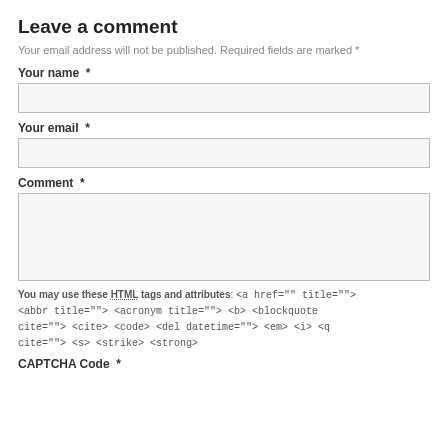Leave a comment
Your email address will not be published. Required fields are marked *
Your name  *
Your email  *
Comment  *
You may use these HTML tags and attributes: <a href="" title=""> <abbr title=""> <acronym title=""> <b> <blockquote cite=""> <cite> <code> <del datetime=""> <em> <i> <q cite=""> <s> <strike> <strong>
CAPTCHA Code  *